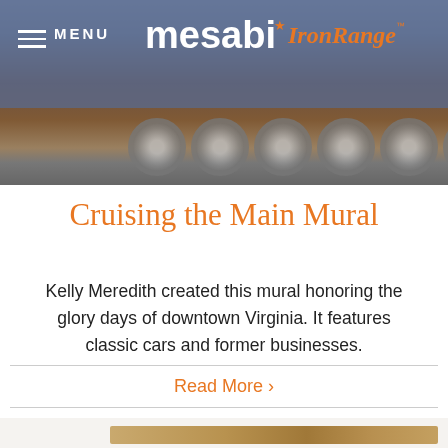[Figure (photo): Header photo showing a mural with classic cars and train imagery, overlaid with the Mesabi Iron Range website navigation bar including MENU text and logo]
Cruising the Main Mural
Kelly Meredith created this mural honoring the glory days of downtown Virginia. It features classic cars and former businesses.
Read More >
[Figure (photo): Partial bottom photo showing what appears to be a wooden or stone surface, cropped at the bottom of the page]